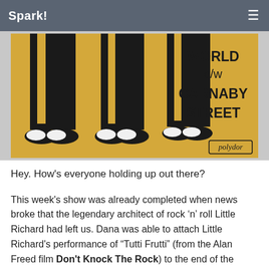Spark!
[Figure (photo): Album cover showing the legs and shoes of three people wearing dark trousers and black-and-white shoes on a yellow/golden background. Text reads 'WORLD c/w CARNABY STREET' with a Polydor logo in the bottom right corner.]
Hey. How's everyone holding up out there?
This week's show was already completed when news broke that the legendary architect of rock 'n' roll Little Richard had left us. Dana was able to attach Little Richard's performance of "Tutti Frutti" (from the Alan Freed film Don't Knock The Rock) to the end of the show, and we'll play a few more Little Richard tunes next week. We'll also play some covers of Little Richard